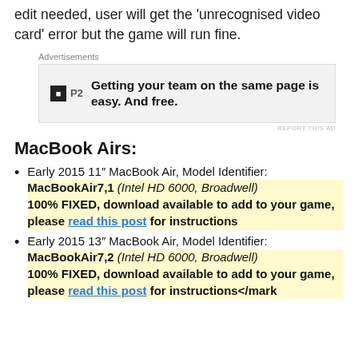edit needed, user will get the 'unrecognised video card' error but the game will run fine.
[Figure (other): Advertisement banner: P2 logo with text 'Getting your team on the same page is easy. And free.']
MacBook Airs:
Early 2015 11" MacBook Air, Model Identifier: MacBookAir7,1 (Intel HD 6000, Broadwell) 100% FIXED, download available to add to your game, please read this post for instructions
Early 2015 13" MacBook Air, Model Identifier: MacBookAir7,2 (Intel HD 6000, Broadwell) 100% FIXED, download available to add to your game, please read this post for instructions</mark